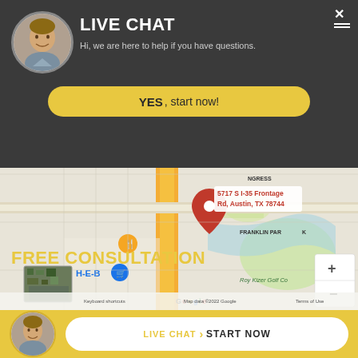LIVE CHAT
Hi, we are here to help if you have questions.
YES, start now!
[Figure (map): Google Maps showing 5717 S I-35 Frontage Rd, Austin, TX 78744 with a red location pin, nearby landmarks H-E-B, Franklin Park, Roy Kizer Golf Course, and map controls.]
FREE CONSULTATION
LIVE CHAT  START NOW